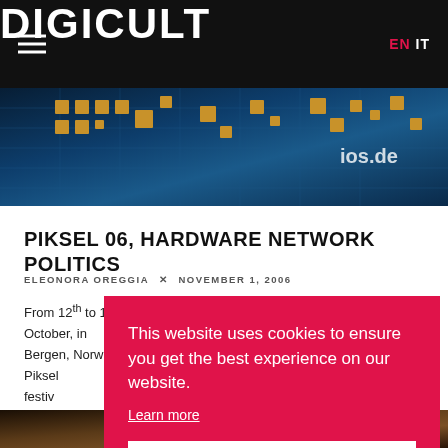DIGICULT | EN IT
[Figure (photo): Circuit board close-up with golden chips on blue PCB, with partial URL 'ios.de' visible]
PIKSEL 06, HARDWARE NETWORK POLITICS
ELEONORA OREGGIA × NOVEMBER 1, 2006
From 12th to 15th October, in Bergen, Norway, Piksel festival... Piksel... about... important... independent...
ACTIV
This website uses cookies to ensure you get the best experience on our website. Learn more Got it
[Figure (photo): Bottom strip showing partial figure, dark brownish tones]